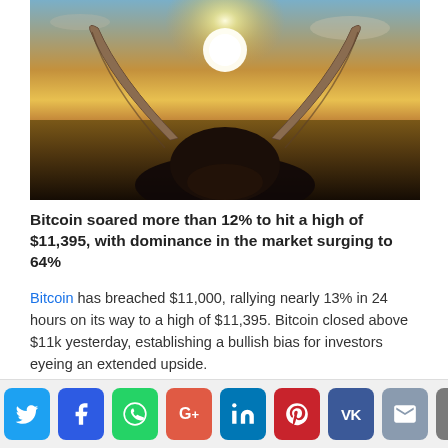[Figure (photo): Close-up of a bull's horns silhouetted against a golden sunset sky over a field, dramatic lighting with sun behind the bull's head]
Bitcoin soared more than 12% to hit a high of $11,395, with dominance in the market surging to 64%
Bitcoin has breached $11,000, rallying nearly 13% in 24 hours on its way to a high of $11,395. Bitcoin closed above $11k yesterday, establishing a bullish bias for investors eyeing an extended upside.
[Figure (infographic): Social media sharing bar with buttons for Twitter, Facebook, WhatsApp, Google+, LinkedIn, Pinterest, VK, Email, scroll-up, and one partial red button]